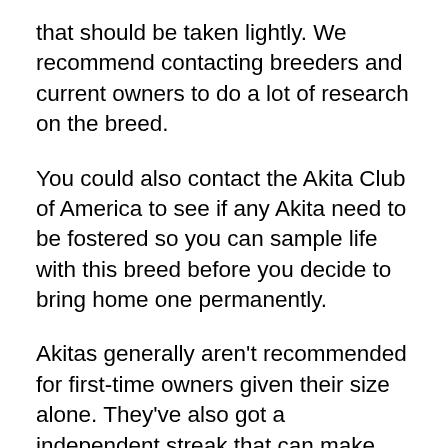that should be taken lightly. We recommend contacting breeders and current owners to do a lot of research on the breed.
You could also contact the Akita Club of America to see if any Akita need to be fostered so you can sample life with this breed before you decide to bring home one permanently.
Akitas generally aren't recommended for first-time owners given their size alone. They've also got a independent streak that can make some Akita challenging to train.
If you've still go your heart set on an Akita and you've got the right circumstances to get one of these large dogs, you should check out the